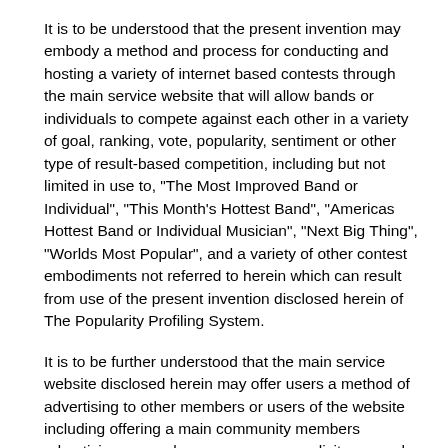It is to be understood that the present invention may embody a method and process for conducting and hosting a variety of internet based contests through the main service website that will allow bands or individuals to compete against each other in a variety of goal, ranking, vote, popularity, sentiment or other type of result-based competition, including but not limited in use to, "The Most Improved Band or Individual", "This Month's Hottest Band", "Americas Hottest Band or Individual Musician", "Next Big Thing", "Worlds Most Popular", and a variety of other contest embodiments not referred to herein which can result from use of the present invention disclosed herein of The Popularity Profiling System.
It is to be further understood that the main service website disclosed herein may offer users a method of advertising to other members or users of the website including offering a main community members advertising page whereon a user can solicit or search for artists or band members or other services in a manner which displays free or paid ads to website users.
The website may further offer each user or artist a web